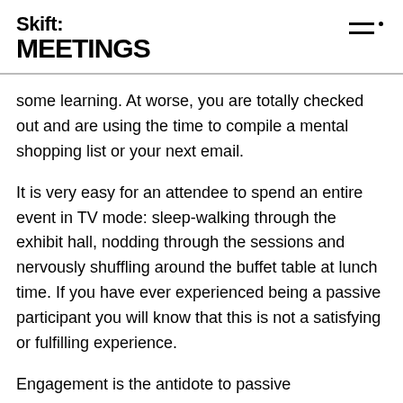Skift: MEETINGS
some learning. At worse, you are totally checked out and are using the time to compile a mental shopping list or your next email.
It is very easy for an attendee to spend an entire event in TV mode: sleep-walking through the exhibit hall, nodding through the sessions and nervously shuffling around the buffet table at lunch time. If you have ever experienced being a passive participant you will know that this is not a satisfying or fulfilling experience.
Engagement is the antidote to passive participation. It allows the attendee to become